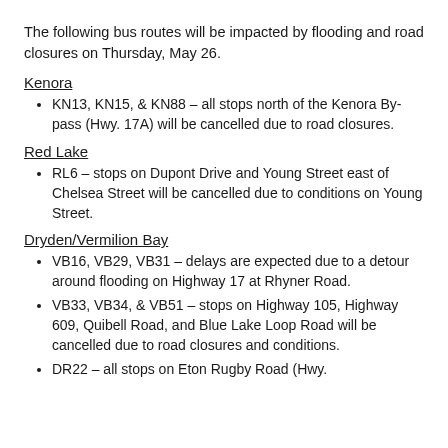The following bus routes will be impacted by flooding and road closures on Thursday, May 26.
Kenora
KN13, KN15, & KN88 – all stops north of the Kenora By-pass (Hwy. 17A) will be cancelled due to road closures.
Red Lake
RL6 – stops on Dupont Drive and Young Street east of Chelsea Street will be cancelled due to conditions on Young Street.
Dryden/Vermilion Bay
VB16, VB29, VB31 – delays are expected due to a detour around flooding on Highway 17 at Rhyner Road.
VB33, VB34, & VB51 – stops on Highway 105, Highway 609, Quibell Road, and Blue Lake Loop Road will be cancelled due to road closures and conditions.
DR22 – all stops on Eton Rugby Road (Hwy.